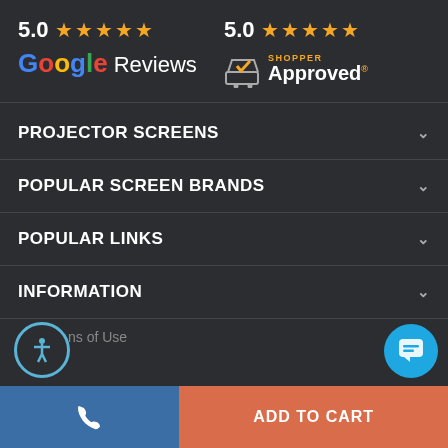[Figure (logo): 5.0 star rating with Google Reviews logo on dark background]
[Figure (logo): 5.0 star rating with Shopper Approved logo on dark background]
PROJECTOR SCREENS
POPULAR SCREEN BRANDS
POPULAR LINKS
INFORMATION
ns of Use
ADD TO CART